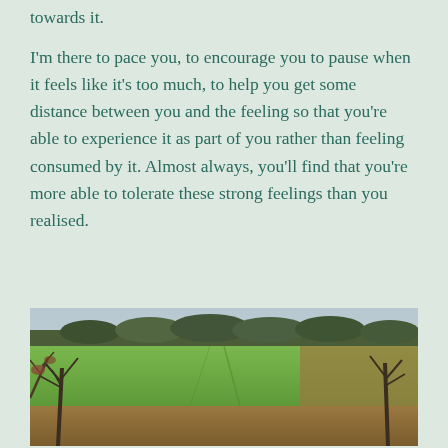towards it.
I'm there to pace you, to encourage you to pause when it feels like it's too much, to help you get some distance between you and the feeling so that you're able to experience it as part of you rather than feeling consumed by it. Almost always, you'll find that you're more able to tolerate these strong feelings than you realised.
[Figure (photo): A countryside landscape photograph showing green fields in the foreground, a treeline in the middle distance, bare trees on the sides, and an overcast grey sky above.]